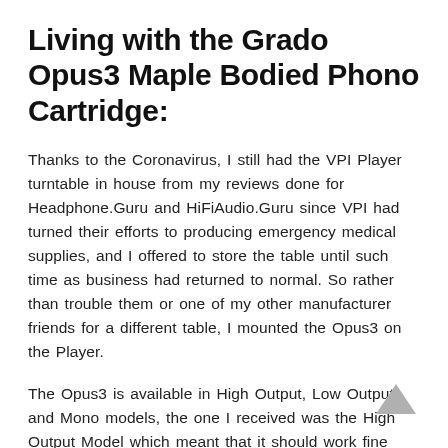Living with the Grado Opus3 Maple Bodied Phono Cartridge:
Thanks to the Coronavirus, I still had the VPI Player turntable in house from my reviews done for Headphone.Guru and HiFiAudio.Guru since VPI had turned their efforts to producing emergency medical supplies, and I offered to store the table until such time as business had returned to normal. So rather than trouble them or one of my other manufacturer friends for a different table, I mounted the Opus3 on the Player.
The Opus3 is available in High Output, Low Output, and Mono models, the one I received was the High Output Model which meant that it should work fine with the VPI phono stage. For the rest of